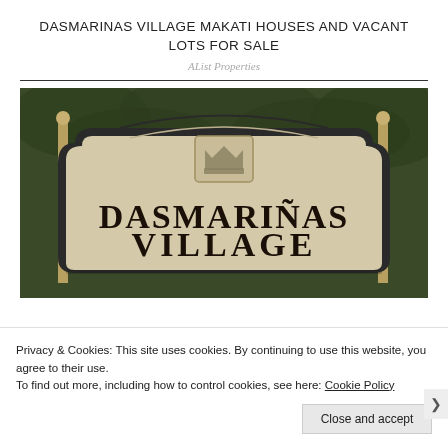DASMARINAS VILLAGE MAKATI HOUSES AND VACANT LOTS FOR SALE
AList Properties
[Figure (photo): Photo of the Dasmariñas Village entrance sign — a large stone/marble sign reading 'DASMARIÑAS VILLAGE' in bold serif font with a decorative crown emblem above, flanked by gold/brass poles, set against green foliage.]
Privacy & Cookies: This site uses cookies. By continuing to use this website, you agree to their use.
To find out more, including how to control cookies, see here: Cookie Policy
Close and accept